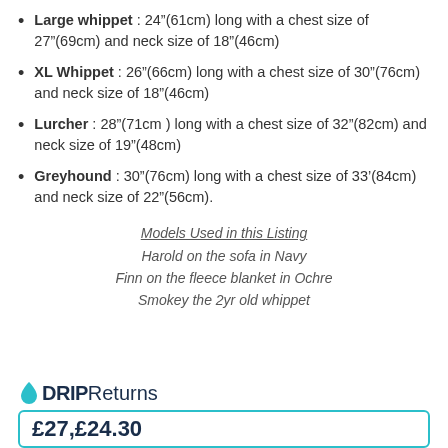Large whippet : 24"(61cm) long with a chest size of 27"(69cm) and neck size of 18"(46cm)
XL Whippet : 26"(66cm) long with a chest size of 30"(76cm) and neck size of 18"(46cm)
Lurcher : 28"(71cm ) long with a chest size of 32"(82cm) and neck size of 19"(48cm)
Greyhound : 30"(76cm) long with a chest size of 33'(84cm) and neck size of 22"(56cm).
Models Used in this Listing
Harold on the sofa in Navy
Finn on the fleece blanket in Ochre
Smokey the 2yr old whippet
DRIPReturns
£27,£24.30